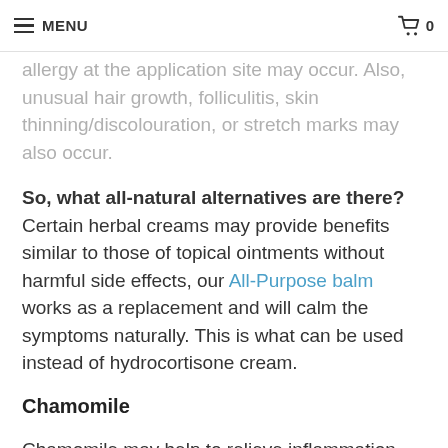MENU | 0
allergy at the application site may occur. Also, unusual hair growth, folliculitis, skin thinning/discolouration, or stretch marks may also occur.
So, what all-natural alternatives are there? Certain herbal creams may provide benefits similar to those of topical ointments without harmful side effects, our All-Purpose balm works as a replacement and will calm the symptoms naturally. This is what can be used instead of hydrocortisone cream.
Chamomile
Chamomile may help to relieve inflammation and suppress an overactive immune response, similar to the function of topical